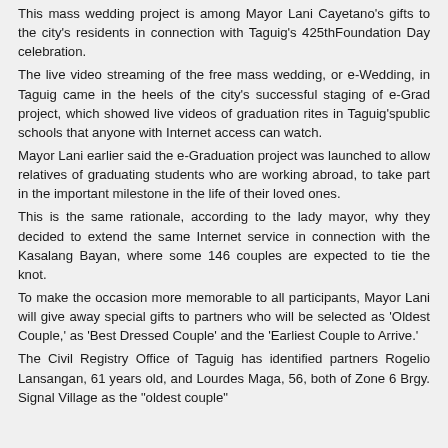This mass wedding project is among Mayor Lani Cayetano's gifts to the city's residents in connection with Taguig's 425thFoundation Day celebration.
The live video streaming of the free mass wedding, or e-Wedding, in Taguig came in the heels of the city's successful staging of e-Grad project, which showed live videos of graduation rites in Taguig'spublic schools that anyone with Internet access can watch.
Mayor Lani earlier said the e-Graduation project was launched to allow relatives of graduating students who are working abroad, to take part in the important milestone in the life of their loved ones.
This is the same rationale, according to the lady mayor, why they decided to extend the same Internet service in connection with the Kasalang Bayan, where some 146 couples are expected to tie the knot.
To make the occasion more memorable to all participants, Mayor Lani will give away special gifts to partners who will be selected as 'Oldest Couple,' as 'Best Dressed Couple' and the 'Earliest Couple to Arrive.'
The Civil Registry Office of Taguig has identified partners Rogelio Lansangan, 61 years old, and Lourdes Maga, 56, both of Zone 6 Brgy. Signal Village as the "oldest couple"